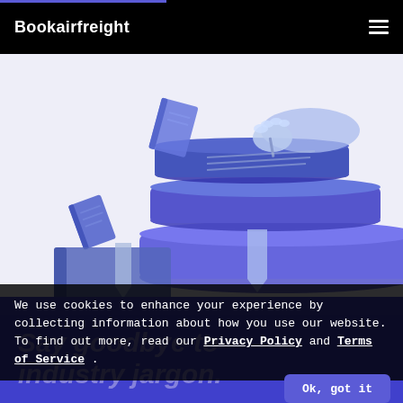Bookairfreight
[Figure (illustration): Purple/blue toned illustration of a stack of books with a hand writing, books floating around, bookmark ribbons visible — monochromatic purple-blue style on light background]
We use cookies to enhance your experience by collecting information about how you use our website. To find out more, read our Privacy Policy and Terms of Service .
Say goodbye to industry jargon.
Ok, got it